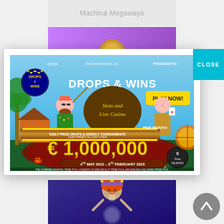Machina Megaways
[Figure (screenshot): Partially visible banner with purple gradient background and gold cracked egg icon]
[Figure (screenshot): Drops & Wins Slots and Live Casino promotional banner by Pragmatic Play. Shows €1,000,000 per month prize pool. Date: 4th May 2022 - 8th February 2023. Features 'PLAY NOW!' button.]
[Figure (screenshot): Close button - cyan/teal square with white text CLOSE]
[Figure (screenshot): Bottom slot game banner showing a fortune teller character with purple/blue background]
[Figure (screenshot): Gray circular scroll-to-top button with upward chevron arrow]